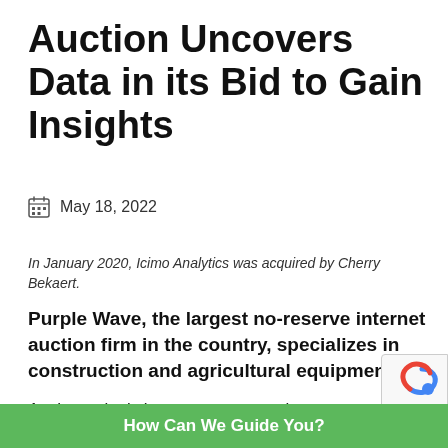Auction Uncovers Data in its Bid to Gain Insights
May 18, 2022
In January 2020, Icimo Analytics was acquired by Cherry Bekaert.
Purple Wave, the largest no-reserve internet auction firm in the country, specializes in construction and agricultural equipment.
As the nation's largest no-reserve internet auctio s
How Can We Guide You?